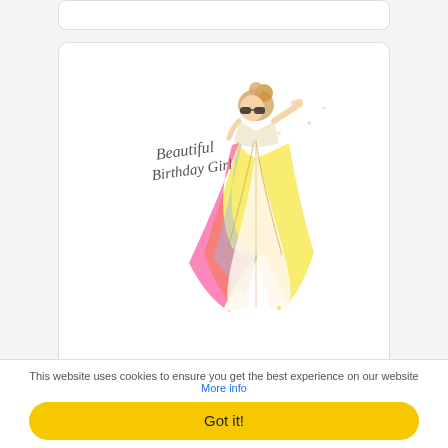[Figure (illustration): Greeting card product image showing a fashion illustration of a woman in a flowing rainbow-colored dress with text 'Beautiful Birthday Girl' in script font]
ADD TO BASKET
Beautiful Birthday Girl
£4.95
This website uses cookies to ensure you get the best experience on our website More info
Got it!